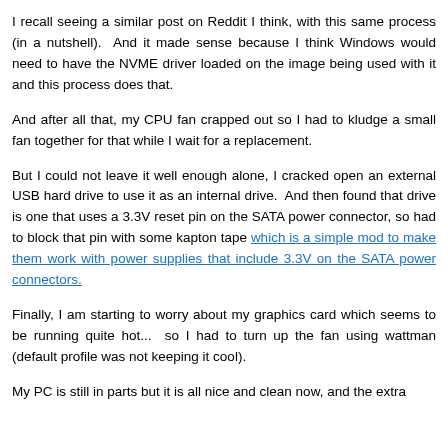I recall seeing a similar post on Reddit I think, with this same process (in a nutshell).  And it made sense because I think Windows would need to have the NVME driver loaded on the image being used with it and this process does that.
And after all that, my CPU fan crapped out so I had to kludge a small fan together for that while I wait for a replacement.
But I could not leave it well enough alone, I cracked open an external USB hard drive to use it as an internal drive.  And then found that drive is one that uses a 3.3V reset pin on the SATA power connector, so had to block that pin with some kapton tape which is a simple mod to make them work with power supplies that include 3.3V on the SATA power connectors.
Finally, I am starting to worry about my graphics card which seems to be running quite hot... so I had to turn up the fan using wattman (default profile was not keeping it cool).
My PC is still in parts but it is all nice and clean now, and the extra